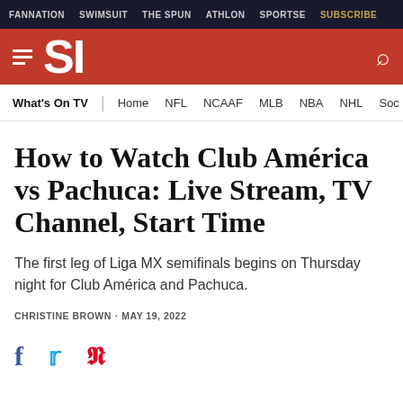FANNATION  SWIMSUIT  THE SPUN  ATHLON  SPORTSE  SUBSCRIBE
[Figure (logo): Sports Illustrated SI logo on red background with hamburger menu and search icon]
What's On TV | Home NFL NCAAF MLB NBA NHL Soc
How to Watch Club América vs Pachuca: Live Stream, TV Channel, Start Time
The first leg of Liga MX semifinals begins on Thursday night for Club América and Pachuca.
CHRISTINE BROWN · MAY 19, 2022
[Figure (infographic): Social sharing icons: Facebook, Twitter, Pinterest]